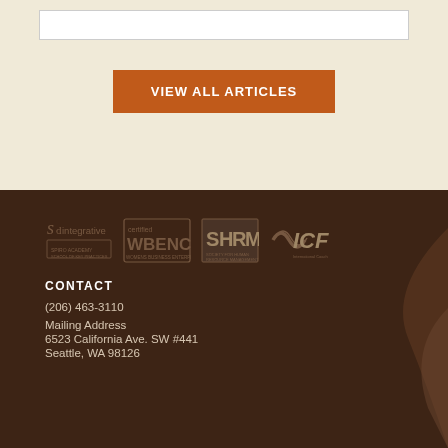[Figure (other): White article/content box at top]
VIEW ALL ARTICLES
[Figure (logo): Row of certification logos: SD Integrative, certified WBENC, SHRM, ICF]
CONTACT
(206) 463-3110
Mailing Address
6523 California Ave. SW #441
Seattle, WA 98126